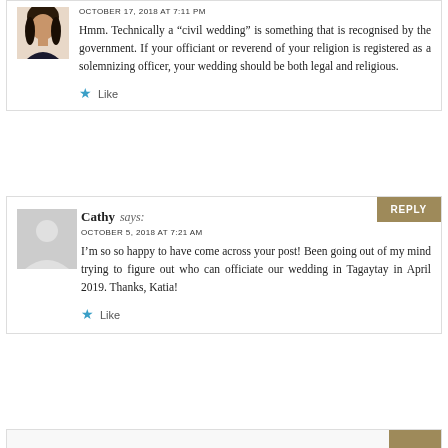[Figure (photo): User avatar photo - woman with dark hair]
OCTOBER 17, 2018 AT 7:11 PM
Hmm. Technically a “civil wedding” is something that is recognised by the government. If your officiant or reverend of your religion is registered as a solemnizing officer, your wedding should be both legal and religious.
Like
[Figure (illustration): Default user avatar placeholder - grey silhouette]
Cathy says:
OCTOBER 5, 2018 AT 7:21 AM
I’m so so happy to have come across your post! Been going out of my mind trying to figure out who can officiate our wedding in Tagaytay in April 2019. Thanks, Katia!
Like